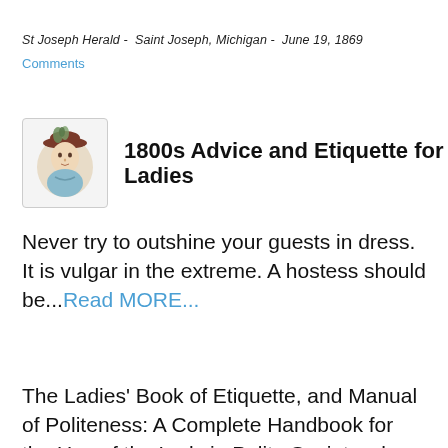St Joseph Herald - Saint Joseph, Michigan - June 19, 1869
Comments
1800s Advice and Etiquette for Ladies
Never try to outshine your guests in dress. It is vulgar in the extreme. A hostess should be...Read MORE...
The Ladies' Book of Etiquette, and Manual of Politeness: A Complete Handbook for the Use of the Lady in Polite Society... by Florence